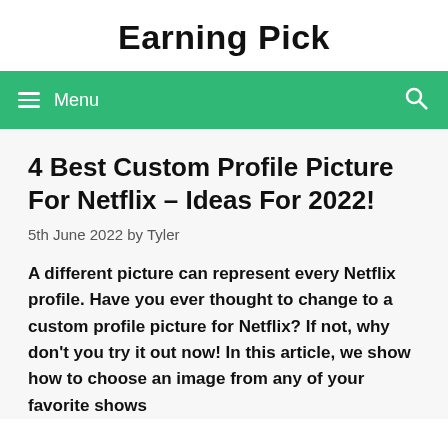Earning Pick
4 Best Custom Profile Picture For Netflix – Ideas For 2022!
5th June 2022 by Tyler
A different picture can represent every Netflix profile. Have you ever thought to change to a custom profile picture for Netflix? If not, why don't you try it out now! In this article, we show how to choose an image from any of your favorite shows